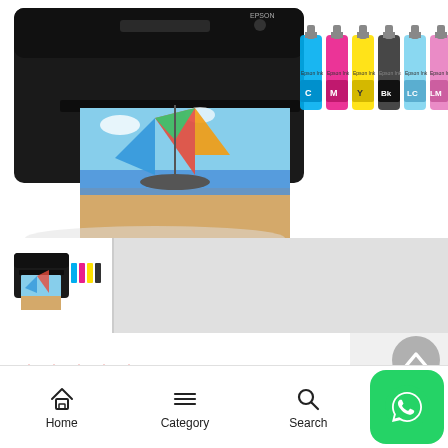[Figure (photo): Epson printer with colorful printout of a sailboat beach scene, alongside six ink bottles labeled C (cyan), M (magenta), Y (yellow), Bk (black), LC (light cyan), LM (light magenta)]
[Figure (photo): Thumbnail of same Epson printer with ink bottles, selected view]
[Figure (other): Scroll to top button (upward chevron in gray circle)]
[Figure (other): Five red star rating icons]
Home   Category   Search   WhatsApp